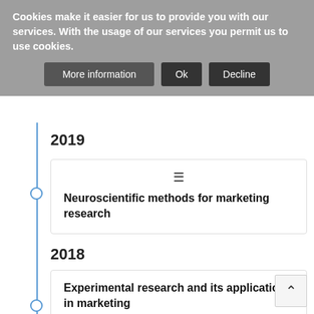Cookies make it easier for us to provide you with our services. With the usage of our services you permit us to use cookies.
More information | Ok | Decline
2019
Neuroscientific methods for marketing research
2018
Experimental research and its application in marketing
2017
Big Data Analysis for Marketing applications